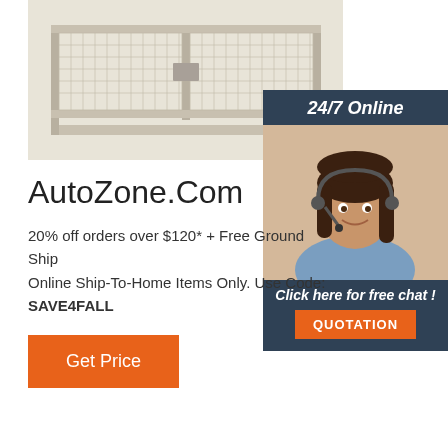[Figure (photo): Industrial metal wire mesh shelving unit on a beige/cream background]
[Figure (photo): Customer service representative woman with headset smiling, with '24/7 Online' header and 'Click here for free chat!' text and QUOTATION button]
AutoZone.Com
20% off orders over $120* + Free Ground Ship Online Ship-To-Home Items Only. Use Code: SAVE4FALL
Get Price